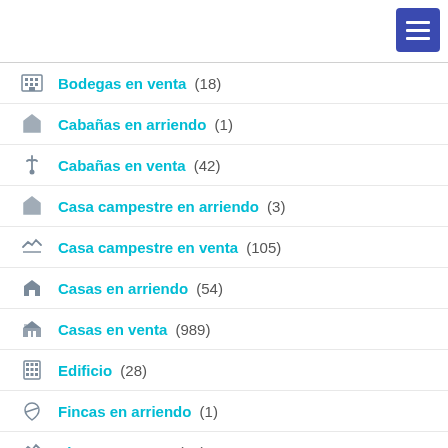Bodegas en venta (18)
Cabañas en arriendo (1)
Cabañas en venta (42)
Casa campestre en arriendo (3)
Casa campestre en venta (105)
Casas en arriendo (54)
Casas en venta (989)
Edificio (28)
Fincas en arriendo (1)
Fincas en venta (93)